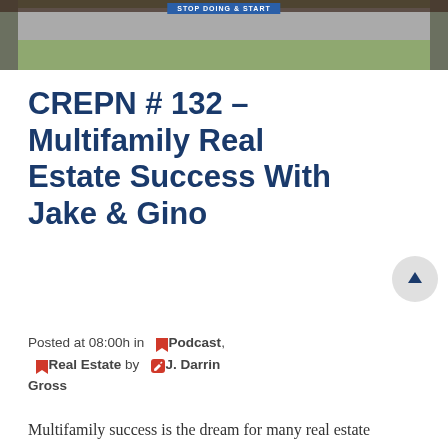[Figure (photo): Partial photo of a commercial real estate property exterior showing a parking lot, road, and grass area with a blue banner at the top.]
CREPN # 132 – Multifamily Real Estate Success With Jake & Gino
Posted at 08:00h in 🔖Podcast, 🔖Real Estate by ✎ J. Darrin Gross
Multifamily success is the dream for many real estate investors. [x_audio_embed]